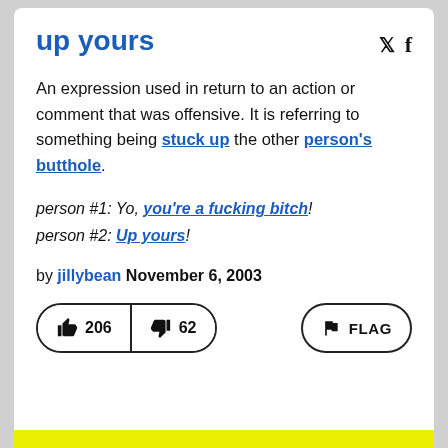up yours
An expression used in return to an action or comment that was offensive. It is referring to something being stuck up the other person's butthole.
person #1: Yo, you're a fucking bitch!
person #2: Up yours!
by jillybean November 6, 2003
👍 206  👎 62  FLAG